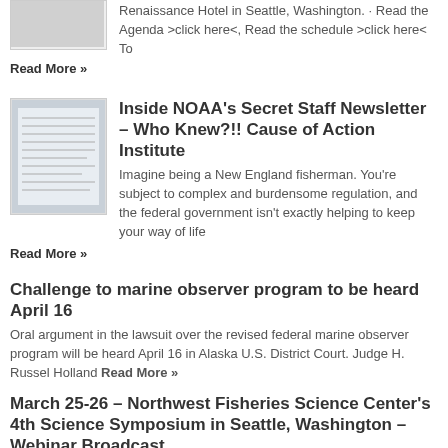Renaissance Hotel in Seattle, Washington. · Read the Agenda >click here<, Read the schedule >click here< To
Read More »
Inside NOAA's Secret Staff Newsletter – Who Knew?!! Cause of Action Institute
Imagine being a New England fisherman. You're subject to complex and burdensome regulation, and the federal government isn't exactly helping to keep your way of life
Read More »
Challenge to marine observer program to be heard April 16
Oral argument in the lawsuit over the revised federal marine observer program will be heard April 16 in Alaska U.S. District Court. Judge H. Russel Holland Read More »
March 25-26 – Northwest Fisheries Science Center's 4th Science Symposium in Seattle, Washington – Webinar Broadcast
Join us for the Northwest Fisheries Science Center's 4th Science Symposium, taking place at NOAA's Western Regional Center in Seattle, Washington. Read information here  Webcast instructions Read More »